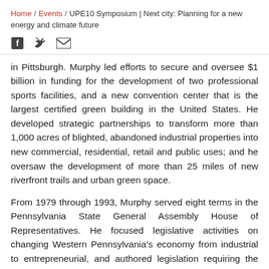Home / Events / UPE10 Symposium | Next city: Planning for a new energy and climate future
[Figure (other): Social media share icons: Facebook, Twitter, Email]
in Pittsburgh. Murphy led efforts to secure and oversee $1 billion in funding for the development of two professional sports facilities, and a new convention center that is the largest certified green building in the United States. He developed strategic partnerships to transform more than 1,000 acres of blighted, abandoned industrial properties into new commercial, residential, retail and public uses; and he oversaw the development of more than 25 miles of new riverfront trails and urban green space.
From 1979 through 1993, Murphy served eight terms in the Pennsylvania State General Assembly House of Representatives. He focused legislative activities on changing Western Pennsylvania's economy from industrial to entrepreneurial, and authored legislation requiring the Commonwealth of Pennsylvania pension fund to invest in venture capital. In addition, he authored legislation created the Ben Franklin Technology Partnership, which is